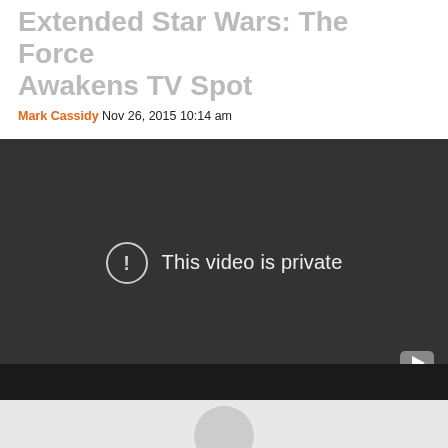Extended Star Wars: The Force Awakens TV Spot
Mark Cassidy Nov 26, 2015 10:14 am
[Figure (screenshot): Embedded YouTube video player showing 'This video is private' error message on a dark background, with YouTube logo in bottom right corner.]
[Figure (screenshot): Bottom section showing a dark navigation bar and a light gray content area with a partially visible circular element.]